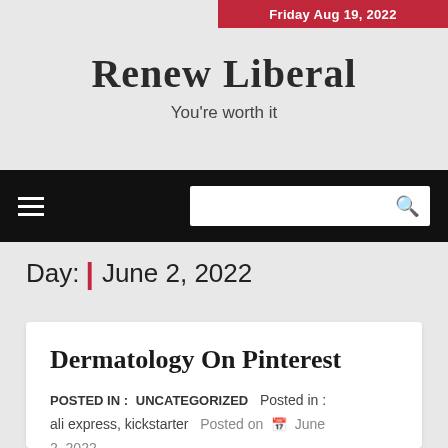Friday Aug 19, 2022
Renew Liberal
You're worth it
[Figure (screenshot): Navigation bar with hamburger menu icon on left and search box with magnifying glass icon on right, black background]
Day: | June 2, 2022
Dermatology On Pinterest
POSTED IN : UNCATEGORIZED  Posted in : ali express, kickstarter  Posted on  June 2, 2022